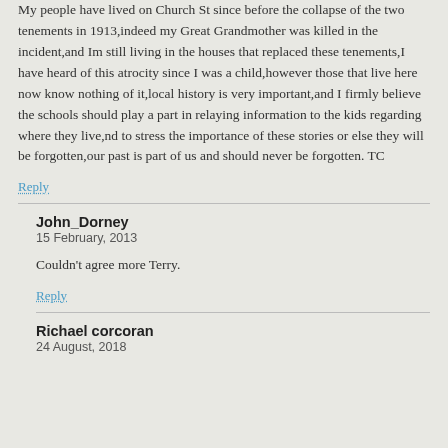My people have lived on Church St since before the collapse of the two tenements in 1913,indeed my Great Grandmother was killed in the incident,and Im still living in the houses that replaced these tenements,I have heard of this atrocity since I was a child,however those that live here now know nothing of it,local history is very important,and I firmly believe the schools should play a part in relaying information to the kids regarding where they live,nd to stress the importance of these stories or else they will be forgotten,our past is part of us and should never be forgotten. TC
Reply
John_Dorney
15 February, 2013
Couldn't agree more Terry.
Reply
Richael corcoran
24 August, 2018